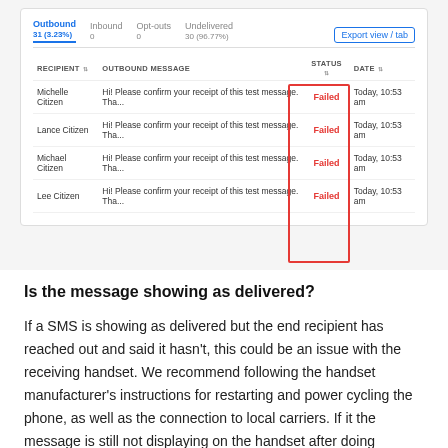[Figure (screenshot): UI panel showing a messaging interface with tabs: Outbound 31 (3.23%), Inbound 0, Opt-outs 0, Undelivered 30 (96.77%). A table lists recipients (Michelle Citizen, Lance Citizen, Michael Citizen, Lee Citizen) with outbound messages all starting 'Hi! Please confirm your receipt of this test message. Tha...' and statuses all showing 'Failed' (highlighted with a red box) and dates 'Today, 10:53 am'. An 'Export view / tab' button is shown.]
Is the message showing as delivered?
If a SMS is showing as delivered but the end recipient has reached out and said it hasn't, this could be an issue with the receiving handset. We recommend following the handset manufacturer's instructions for restarting and power cycling the phone, as well as the connection to local carriers. If it the message is still not displaying on the handset after doing